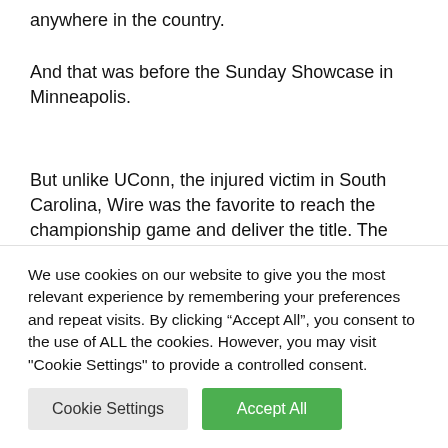anywhere in the country.
And that was before the Sunday Showcase in Minneapolis.
But unlike UConn, the injured victim in South Carolina, Wire was the favorite to reach the championship game and deliver the title. The Gamecocks opened the season ranked No. 1 in the Associated Press pool, a place they
We use cookies on our website to give you the most relevant experience by remembering your preferences and repeat visits. By clicking “Accept All”, you consent to the use of ALL the cookies. However, you may visit "Cookie Settings" to provide a controlled consent.